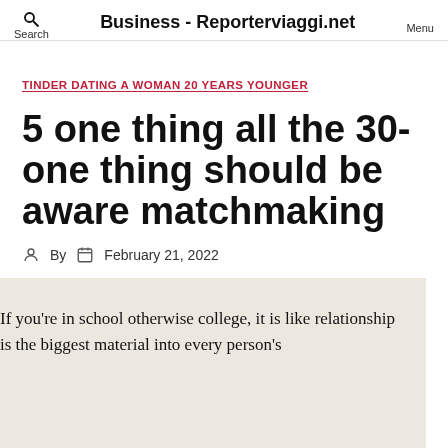Search  Business - Reporterviaggi.net  Menu
TINDER DATING A WOMAN 20 YEARS YOUNGER
5 one thing all the 30-one thing should be aware matchmaking
By  February 21, 2022
If you're in school otherwise college, it is like relationship is the biggest material into every person's